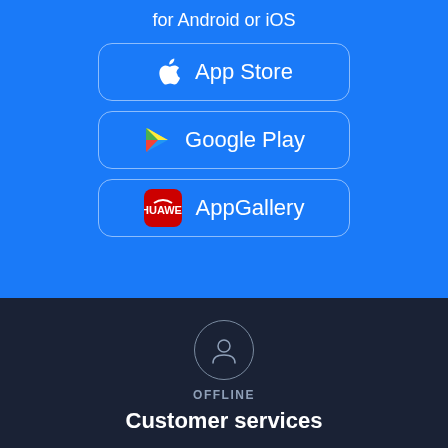for Android or iOS
[Figure (infographic): App Store button with Apple logo]
[Figure (infographic): Google Play button with Play Store triangle logo]
[Figure (infographic): AppGallery button with Huawei logo]
[Figure (infographic): Circular icon with person/agent symbol for offline customer service]
OFFLINE
Customer services
Send inquiry to 20356 professionals in this category!